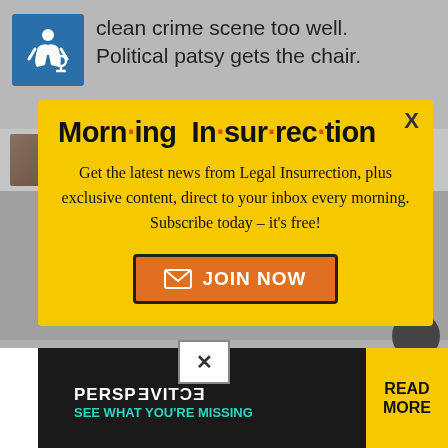clean crime scene too well. Political patsy gets the chair.
ooddballz | April 14, 2017 at 8:02 am
[Figure (screenshot): Morning Insurrection newsletter modal popup on yellow background with JOIN NOW button]
[Figure (screenshot): Bottom advertisement bar: THE PERSPECTIVE - SEE WHAT YOU'RE MISSING - READ MORE]